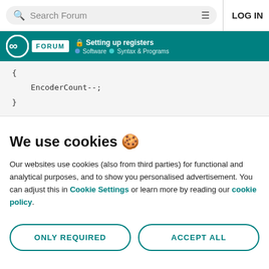Search Forum | LOG IN
Setting up registers · Software · Syntax & Programs
{
    EncoderCount--;
}
We use cookies 🍪
Our websites use cookies (also from third parties) for functional and analytical purposes, and to show you personalised advertisement. You can adjust this in Cookie Settings or learn more by reading our cookie policy.
ONLY REQUIRED
ACCEPT ALL